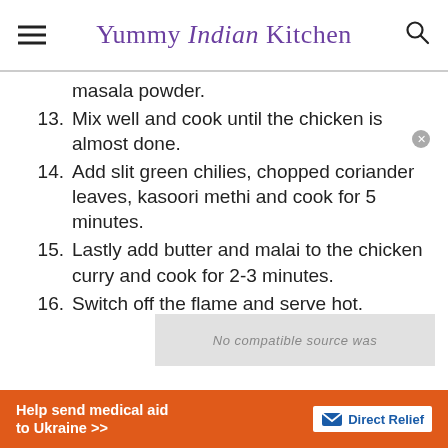Yummy Indian Kitchen
masala powder.
13. Mix well and cook until the chicken is almost done.
14. Add slit green chilies, chopped coriander leaves, kasoori methi and cook for 5 minutes.
15. Lastly add butter and malai to the chicken curry and cook for 2-3 minutes.
16. Switch off the flame and serve hot.
[Figure (screenshot): Advertisement overlay: 'Help send medical aid to Ukraine >>' with Direct Relief logo on orange background]